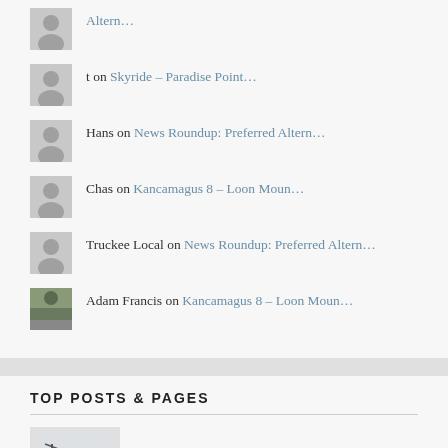Altern...
t on Skyride – Paradise Point...
Hans on News Roundup: Preferred Altern...
Chas on Kancamagus 8 – Loon Moun...
Truckee Local on News Roundup: Preferred Altern...
Adam Francis on Kancamagus 8 – Loon Moun...
TOP POSTS & PAGES
News Roundup: Preferred Alternative
2023 New Lifts